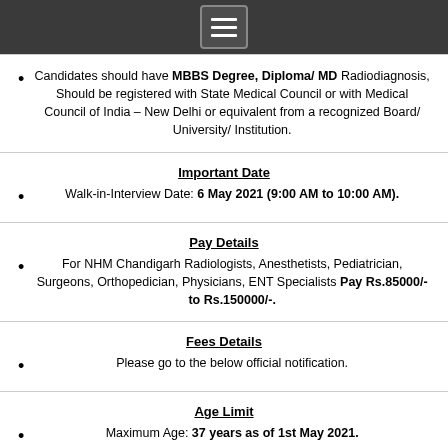Menu icon header bar
Candidates should have MBBS Degree, Diploma/ MD Radiodiagnosis, Should be registered with State Medical Council or with Medical Council of India – New Delhi or equivalent from a recognized Board/ University/ Institution.
Important Date
Walk-in-Interview Date: 6 May 2021 (9:00 AM to 10:00 AM).
Pay Details
For NHM Chandigarh Radiologists, Anesthetists, Pediatrician, Surgeons, Orthopedician, Physicians, ENT Specialists Pay Rs.85000/- to Rs.150000/-.
Fees Details
Please go to the below official notification.
Age Limit
Maximum Age: 37 years as of 1st May 2021.
Selection Process